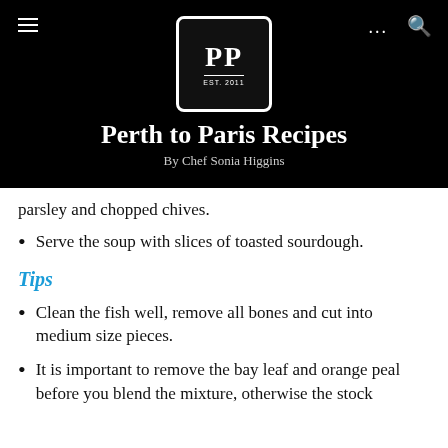[Figure (logo): PP logo in white on black square with EST. 2011 text]
Perth to Paris Recipes
By Chef Sonia Higgins
parsley and chopped chives.
Serve the soup with slices of toasted sourdough.
Tips
Clean the fish well, remove all bones and cut into medium size pieces.
It is important to remove the bay leaf and orange peal before you blend the mixture, otherwise the stock